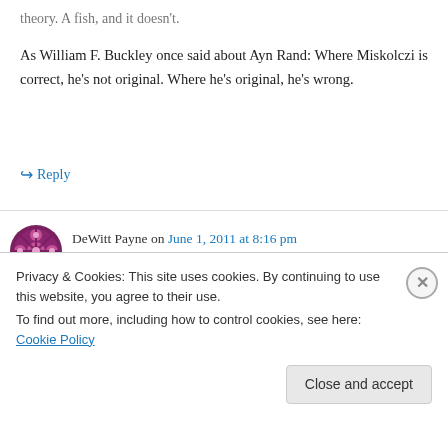As William F. Buckley once said about Ayn Rand: Where Miskolczi is correct, he's not original. Where he's original, he's wrong.
↳ Reply
DeWitt Payne on June 1, 2011 at 8:16 pm
cohenite,
I disagree with Steve Short's analysis of clear
Privacy & Cookies: This site uses cookies. By continuing to use this website, you agree to their use.
To find out more, including how to control cookies, see here: Cookie Policy
Close and accept